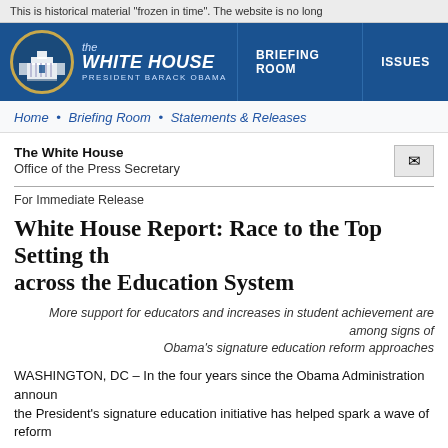This is historical material "frozen in time". The website is no long
[Figure (logo): White House website header with logo oval containing White House building illustration, italic 'the WHITE HOUSE' text, 'PRESIDENT BARACK OBAMA' subtext, and navigation links: BRIEFING ROOM | ISSUES]
Home • Briefing Room • Statements & Releases
The White House
Office of the Press Secretary
For Immediate Release
White House Report: Race to the Top Setting th across the Education System
More support for educators and increases in student achievement are among signs of Obama's signature education reform approaches
WASHINGTON, DC – In the four years since the Obama Administration announ the President's signature education initiative has helped spark a wave of reform